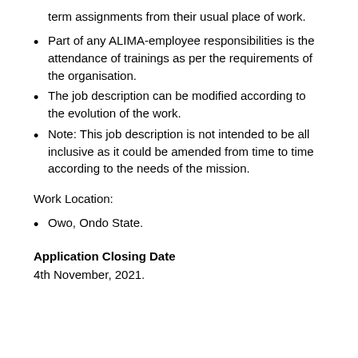term assignments from their usual place of work.
Part of any ALIMA-employee responsibilities is the attendance of trainings as per the requirements of the organisation.
The job description can be modified according to the evolution of the work.
Note: This job description is not intended to be all inclusive as it could be amended from time to time according to the needs of the mission.
Work Location:
Owo, Ondo State.
Application Closing Date
4th November, 2021.